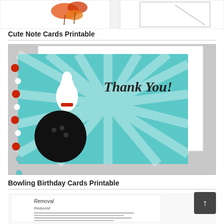[Figure (photo): Partial view of cute note cards printable — autumn leaf themed cards]
Cute Note Cards Printable
[Figure (photo): Bowling birthday card printable featuring a bowling pin and ball on a teal sunburst background with 'Thank You!' text in script]
Bowling Birthday Cards Printable
[Figure (photo): Partial view of a document page showing 'Removal' header and form fields]